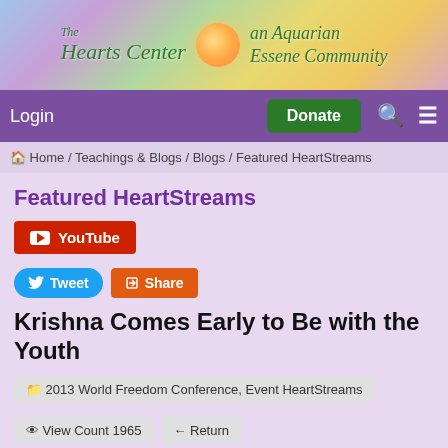[Figure (logo): The Hearts Center - an Aquarian Essene Community banner header with gradient colors and flower logo]
Login | Donate
Home / Teachings & Blogs / Blogs / Featured HeartStreams
Featured HeartStreams
YouTube
Tweet | Share
Krishna Comes Early to Be with the Youth
2013 World Freedom Conference, Event HeartStreams
View Count 1965 | Return
[Figure (illustration): Illustration of Lord Krishna playing flute on a purple background with rays of light, spiritual imagery]